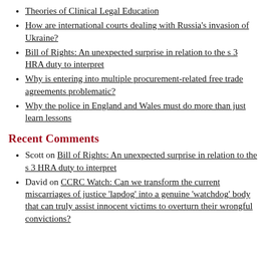Theories of Clinical Legal Education
How are international courts dealing with Russia's invasion of Ukraine?
Bill of Rights: An unexpected surprise in relation to the s 3 HRA duty to interpret
Why is entering into multiple procurement-related free trade agreements problematic?
Why the police in England and Wales must do more than just learn lessons
Recent Comments
Scott on Bill of Rights: An unexpected surprise in relation to the s 3 HRA duty to interpret
David on CCRC Watch: Can we transform the current miscarriages of justice 'lapdog' into a genuine 'watchdog' body that can truly assist innocent victims to overturn their wrongful convictions?